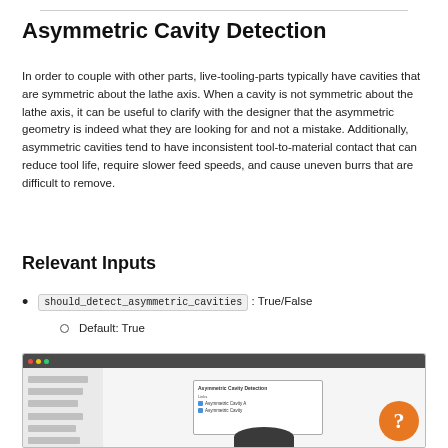Asymmetric Cavity Detection
In order to couple with other parts, live-tooling-parts typically have cavities that are symmetric about the lathe axis. When a cavity is not symmetric about the lathe axis, it can be useful to clarify with the designer that the asymmetric geometry is indeed what they are looking for and not a mistake. Additionally, asymmetric cavities tend to have inconsistent tool-to-material contact that can reduce tool life, require slower feed speeds, and cause uneven burrs that are difficult to remove.
Relevant Inputs
should_detect_asymmetric_cavities : True/False
Default: True
[Figure (screenshot): Screenshot of a web application (browser window) showing a configuration panel with a modal dialog for asymmetric cavity detection settings, with checkboxes for options and an orange help button in the lower right corner.]